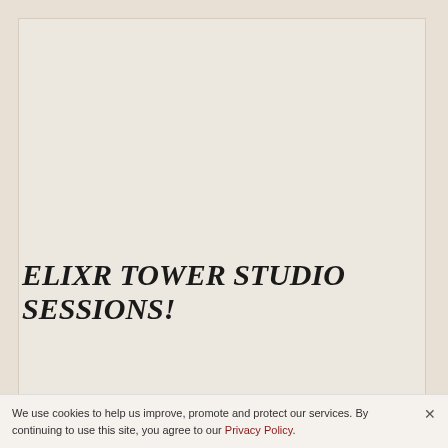[Figure (illustration): Large cream/beige colored rectangular card area, mostly empty, forming a content block on a warm beige background]
ELIXR TOWER STUDIO SESSIONS!
ARTICLE
We use cookies to help us improve, promote and protect our services. By continuing to use this site, you agree to our Privacy Policy.